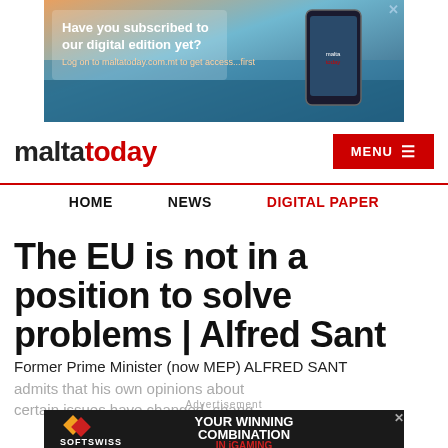[Figure (infographic): MaltaToday digital edition advertisement banner showing a hand holding a phone against a scenic backdrop. Text: 'Have you subscribed to our digital edition yet? Log on to maltatoday.com.mt to get access...first']
maltatoday  MENU
HOME   NEWS   DIGITAL PAPER
The EU is not in a position to solve problems | Alfred Sant
Former Prime Minister (now MEP) ALFRED SANT admits that his own opinions about certain issues have changed. chang
[Figure (infographic): SOFTSWISS advertisement: 'YOUR WINNING COMBINATION IN iGAMING' with orange and red diamond logos]